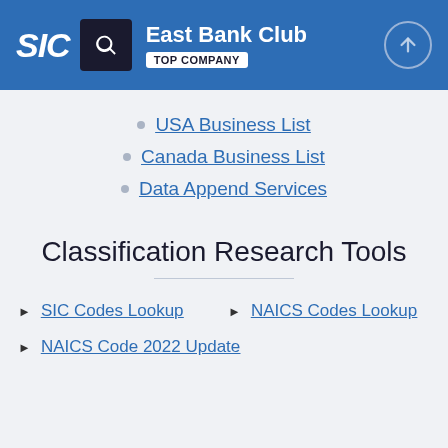SIC | East Bank Club | TOP COMPANY
USA Business List
Canada Business List
Data Append Services
Classification Research Tools
SIC Codes Lookup
NAICS Codes Lookup
NAICS Code 2022 Update